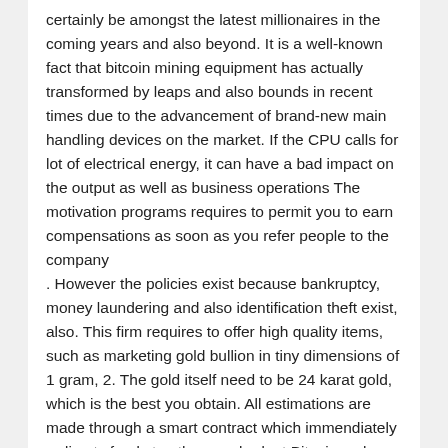certainly be amongst the latest millionaires in the coming years and also beyond. It is a well-known fact that bitcoin mining equipment has actually transformed by leaps and also bounds in recent times due to the advancement of brand-new main handling devices on the market. If the CPU calls for lot of electrical energy, it can have a bad impact on the output as well as business operations The motivation programs requires to permit you to earn compensations as soon as you refer people to the company
. However the policies exist because bankruptcy, money laundering and also identification theft exist, also. This firm requires to offer high quality items, such as marketing gold bullion in tiny dimensions of 1 gram, 2. The gold itself need to be 24 karat gold, which is the best you obtain. All estimations are made through a smart contract which immendiately redirects funds to ethereum budget Bitcoin makes use of state of the art cryptography, can be provided in any